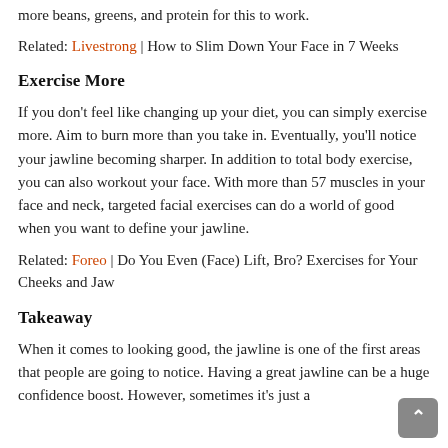more beans, greens, and protein for this to work.
Related: Livestrong | How to Slim Down Your Face in 7 Weeks
Exercise More
If you don't feel like changing up your diet, you can simply exercise more. Aim to burn more than you take in. Eventually, you'll notice your jawline becoming sharper. In addition to total body exercise, you can also workout your face. With more than 57 muscles in your face and neck, targeted facial exercises can do a world of good when you want to define your jawline.
Related: Foreo | Do You Even (Face) Lift, Bro? Exercises for Your Cheeks and Jaw
Takeaway
When it comes to looking good, the jawline is one of the first areas that people are going to notice. Having a great jawline can be a huge confidence boost. However, sometimes it's just a